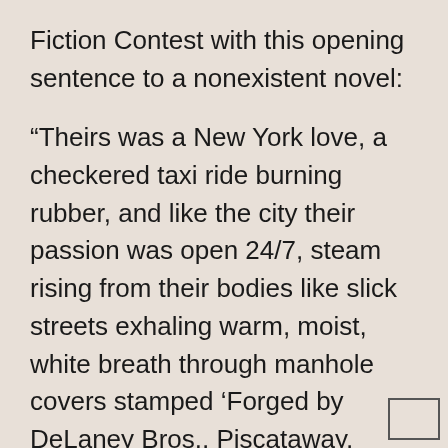Fiction Contest with this opening sentence to a nonexistent novel:
“Theirs was a New York love, a checkered taxi ride burning rubber, and like the city their passion was open 24/7, steam rising from their bodies like slick streets exhaling warm, moist, white breath through manhole covers stamped ‘Forged by DeLaney Bros., Piscataway, N.J.’”
The contest is named after Victorian novelist Edward George Earl Bulwer-Lytton, whose 1830 novel “Paul Clifford” famously begins “It was a dark and stormy night.”